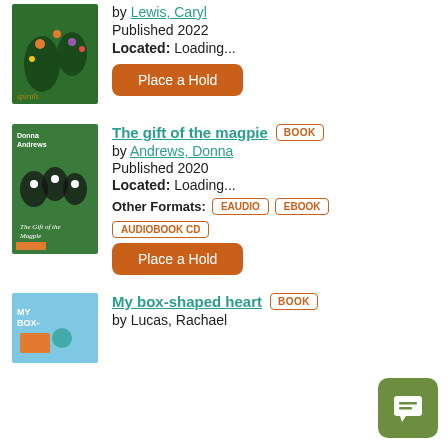[Figure (illustration): Book cover partially visible at top, colorful illustration]
by Lewis, Caryl
Published 2022
Located: Loading...
Place a Hold
[Figure (illustration): Book cover: The Gift of the Magpie by Donna Andrews, green cover with magpies]
The gift of the magpie BOOK
by Andrews, Donna
Published 2020
Located: Loading...
Other Formats: EAUDIO EBOOK AUDIOBOOK CD
Place a Hold
[Figure (illustration): Book cover: My box-shaped heart, blue cover]
My box-shaped heart BOOK
by Lucas, Rachael